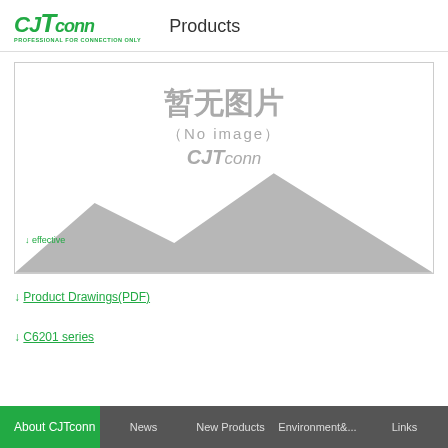[Figure (logo): CJTconn logo with green text and tagline PROFESSIONAL FOR CONNECTION ONLY]
Products
[Figure (illustration): No image placeholder with Chinese text 暂无图片 (No image), CJTconn watermark, mountain silhouette graphic in grey, and 'effective' label in green]
↓ Product Drawings(PDF)
↓ C6201 series
About CJTconn  News  New Products  Environment&...  Links